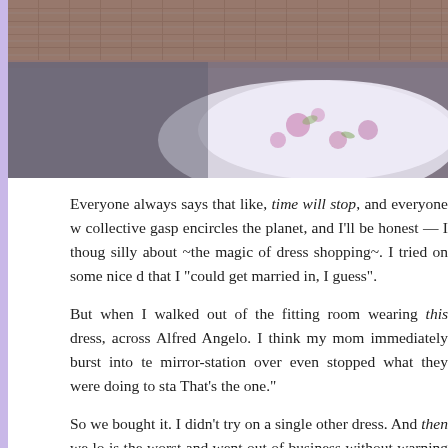[Figure (photo): A wedding dress with floral pattern resting on pavement near a brick wall, viewed from above.]
Everyone always says that like, time will stop, and everyone will collectively gasp encircles the planet, and I'll be honest — I thought they were silly about ~the magic of dress shopping~. I tried on some nice dresses that I "could get married in, I guess".
But when I walked out of the fitting room wearing this dress, I lit up across Alfred Angelo. I think my mom immediately burst into tears, the mirror-station over even stopped what they were doing to sta… That's the one."
So we bought it. I didn't try on a single other dress. And then we lo… is the worst and went out of business without warning anyon… orders. But – then we found another one just like it online from a… But that's a story for another time.
Joe and I started our wedding day out with a 'first look' on the…